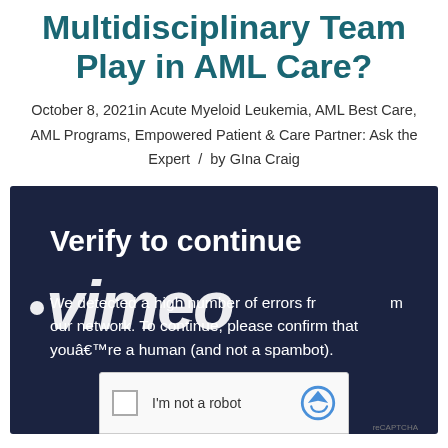Multidisciplinary Team Play in AML Care?
October 8, 2021in Acute Myeloid Leukemia, AML Best Care, AML Programs, Empowered Patient & Care Partner: Ask the Expert  /  by GIna Craig
[Figure (screenshot): Vimeo video embed showing a 'Verify to continue' CAPTCHA overlay on a dark navy background. The overlay shows the Vimeo logo in large white italic text, the message 'We detected a high number of errors from our network. To continue, please confirm that youare a human (and not a spambot).' Below is a reCAPTCHA widget with a checkbox labeled 'I'm not a robot'.]